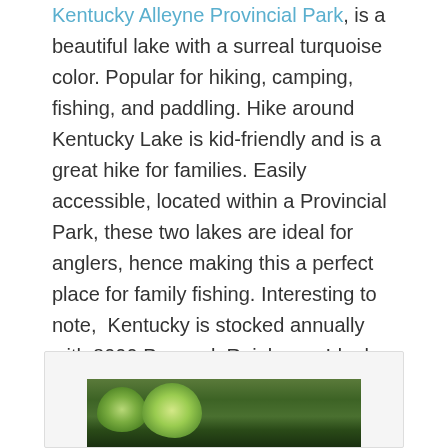Kentucky Alleyne Provincial Park, is a beautiful lake with a surreal turquoise color. Popular for hiking, camping, fishing, and paddling. Hike around Kentucky Lake is kid-friendly and is a great hike for families. Easily accessible, located within a Provincial Park, these two lakes are ideal for anglers, hence making this a perfect place for family fishing. Interesting to note, Kentucky is stocked annually with 8000 Pennask Rainbows. Ideal for trolling with small lures and spinning gear is the most popular method used on the lake. Kentucky is considered to be somewhat slow, however it quite often produces large trout in the 4-5 lb. range. Furthermore great for summer kayaking, swimming, or just dipping your toes.
[Figure (photo): A photo of a forested lake area with green trees, partially visible at the bottom of the page inside a light-bordered box.]